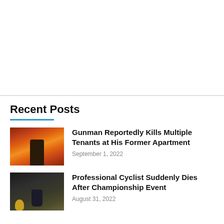Recent Posts
[Figure (photo): Firefighter in full gear standing in front of large fire and flames]
Gunman Reportedly Kills Multiple Tenants at His Former Apartment
September 1, 2022
[Figure (photo): Hands holding a dark funeral urn with yellow flowers nearby]
Professional Cyclist Suddenly Dies After Championship Event
August 31, 2022